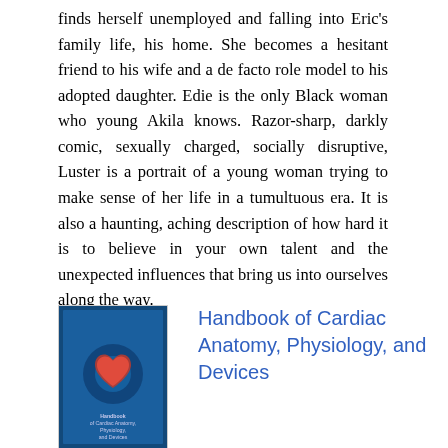finds herself unemployed and falling into Eric's family life, his home. She becomes a hesitant friend to his wife and a de facto role model to his adopted daughter. Edie is the only Black woman who young Akila knows. Razor-sharp, darkly comic, sexually charged, socially disruptive, Luster is a portrait of a young woman trying to make sense of her life in a tumultuous era. It is also a haunting, aching description of how hard it is to believe in your own talent and the unexpected influences that bring us into ourselves along the way.
[Figure (illustration): Book cover of 'Handbook of Cardiac Anatomy, Physiology, and Devices' with dark blue background and heart imagery]
Handbook of Cardiac Anatomy, Physiology, and Devices
By Paul A. Iaizzo